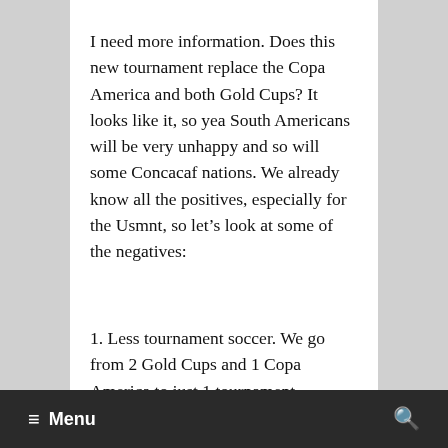I need more information. Does this new tournament replace the Copa America and both Gold Cups? It looks like it, so yea South Americans will be very unhappy and so will some Concacaf nations. We already know all the positives, especially for the Usmnt, so let's look at some of the negatives:
1. Less tournament soccer. We go from 2 Gold Cups and 1 Copa America to just 1 tournament.
≡ Menu